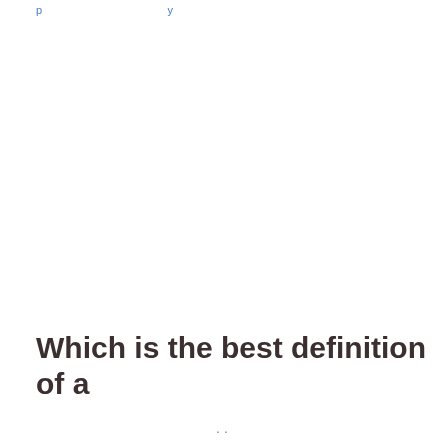p y
Which is the best definition of a
..